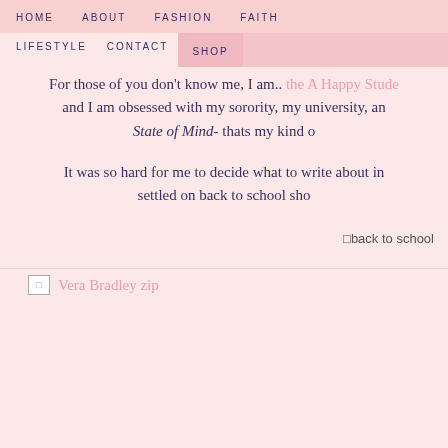HOME   ABOUT   FASHION   FAITH
LIFESTYLE   CONTACT   SHOP
For those of you don't know me, I am... the A Happy Student and I am obsessed with my sorority, my university, an... State of Mind- thats my kind o...
It was so hard for me to decide what to write about in ... settled on back to school sho...
[Figure (photo): Broken image placeholder labeled 'back to school']
[Figure (photo): Broken image placeholder with text 'Vera Bradley zip...']